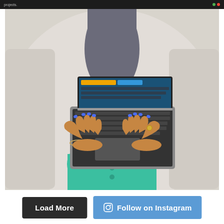[Figure (photo): Top-down view of a woman sitting on a white couch typing on a silver laptop, wearing a teal/mint green shirt and blue nail polish, with a bracelet on her wrist]
Load More
Follow on Instagram